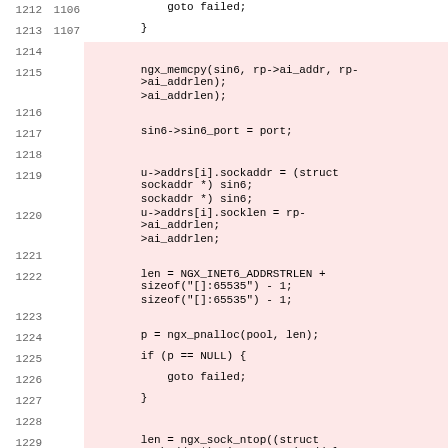[Figure (screenshot): Source code diff view showing C code lines 1212-1233, with lines 1214-1233 highlighted in pink/red background. Left columns show two sets of line numbers. Code includes ngx_memcpy, sin6 port assignment, sockaddr assignments, len calculations with NGX_INET6_ADDRSTRLEN, ngx_pnalloc, goto failed, and ngx_sock_ntop calls.]